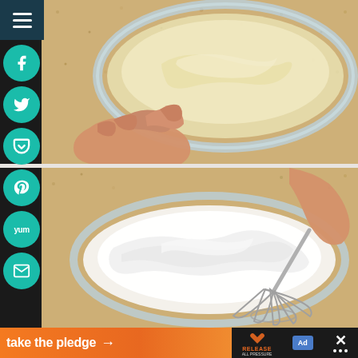[Figure (photo): Top-down view of pale yellow dough in a glass bowl being held, on a granite countertop]
[Figure (photo): Top-down view of white whipped cream or egg whites in a glass bowl being whisked by hand, on a granite countertop]
[Figure (screenshot): Social media sharing sidebar with menu button (hamburger) and circular teal buttons for Facebook, Twitter, Pocket, Pinterest, Yummly, and Email]
[Figure (screenshot): Bottom banner ad: orange section with text 'take the pledge' and arrow, plus Release logo, ad indicator, and close button on dark background]